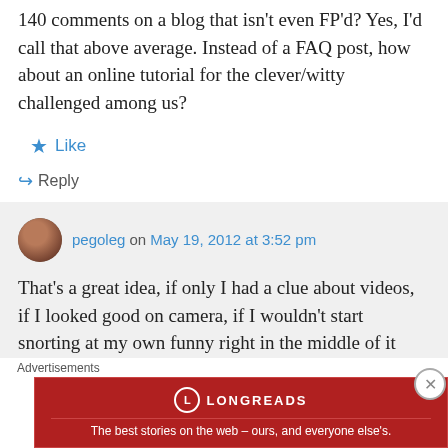140 comments on a blog that isn't even FP'd? Yes, I'd call that above average. Instead of a FAQ post, how about an online tutorial for the clever/witty challenged among us?
★ Like
↪ Reply
pegoleg on May 19, 2012 at 3:52 pm
That's a great idea, if only I had a clue about videos, if I looked good on camera, if I wouldn't start snorting at my own funny right in the middle of it
Advertisements
[Figure (other): Longreads advertisement banner: red background with Longreads logo and tagline 'The best stories on the web – ours, and everyone else's.']